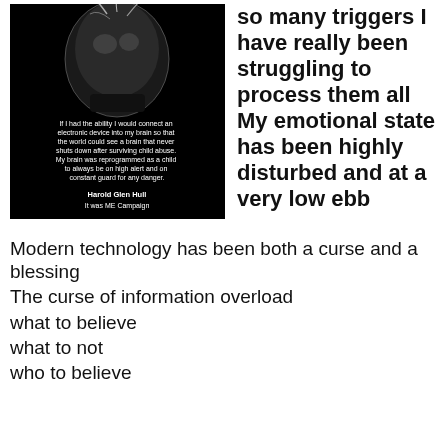[Figure (illustration): Dark image showing an X-ray or scan of a human skull/head with white text overlay: 'If I had the ability I would connect an electronic device into my brain so that the world could see a brain that never shuts down after surviving child abuse. My brain was reprogrammed as a child to always be on high alert and on constant guard for any danger.' Attribution: Harold Glen Hull / It was ME Campaign]
There have been so so many triggers I have really been struggling to process them all My emotional state has been highly disturbed and at a very low ebb
Modern technology has been both a curse and a blessing
The curse of information overload
what to believe
what to not
who to believe